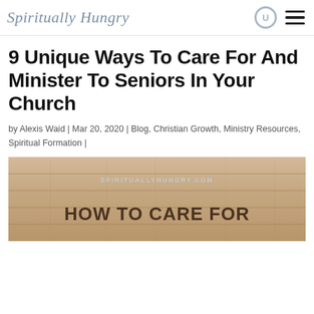Spiritually Hungry
9 Unique Ways To Care For And Minister To Seniors In Your Church
by Alexis Waid | Mar 20, 2020 | Blog, Christian Growth, Ministry Resources, Spiritual Formation |
[Figure (photo): A photo with wood plank background showing the text SPIRITUALLYHUNGRY.COM and HOW TO CARE FOR at the bottom as part of a blog post thumbnail image.]